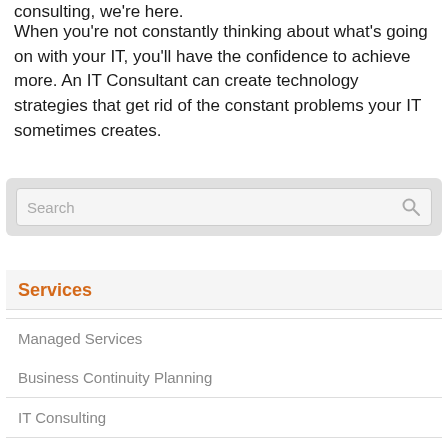consulting, we're here.
When you're not constantly thinking about what's going on with your IT, you'll have the confidence to achieve more. An IT Consultant can create technology strategies that get rid of the constant problems your IT sometimes creates.
Services
Managed Services
Business Continuity Planning
IT Consulting
Network Security